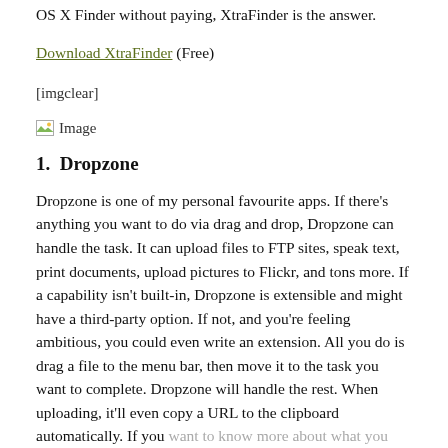OS X Finder without paying, XtraFinder is the answer.
Download XtraFinder (Free)
[imgclear]
[Figure (illustration): Small image placeholder icon with label 'Image']
1. Dropzone
Dropzone is one of my personal favourite apps. If there's anything you want to do via drag and drop, Dropzone can handle the task. It can upload files to FTP sites, speak text, print documents, upload pictures to Flickr, and tons more. If a capability isn't built-in, Dropzone is extensible and might have a third-party option. If not, and you're feeling ambitious, you could even write an extension. All you do is drag a file to the menu bar, then move it to the task you want to complete. Dropzone will handle the rest. When uploading, it'll even copy a URL to the clipboard automatically. If you want to know more about what you can do with Dropzone,